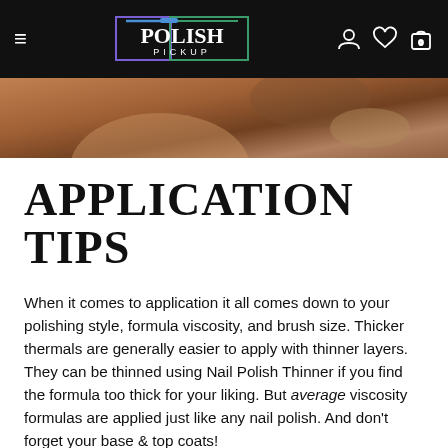POLISH PICKUP — navigation header with hamburger menu, logo, user/wishlist/cart icons
[Figure (photo): Close-up photo of hands applying nail polish, warm brown tones]
APPLICATION TIPS
When it comes to application it all comes down to your polishing style, formula viscosity, and brush size. Thicker thermals are generally easier to apply with thinner layers. They can be thinned using Nail Polish Thinner if you find the formula too thick for your liking. But average viscosity formulas are applied just like any nail polish. And don't forget your base & top coats!